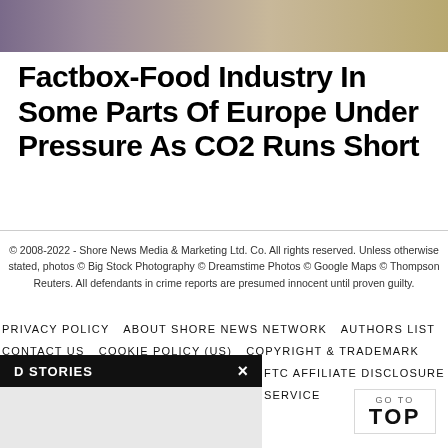[Figure (photo): Partial photo strip at top of page, blurred image with purple, beige, and gold tones]
Factbox-Food Industry In Some Parts Of Europe Under Pressure As CO2 Runs Short
© 2008-2022 - Shore News Media & Marketing Ltd. Co. All rights reserved. Unless otherwise stated, photos © Big Stock Photography © Dreamstime Photos © Google Maps © Thompson Reuters. All defendants in crime reports are presumed innocent until proven guilty.
PRIVACY POLICY   ABOUT SHORE NEWS NETWORK   AUTHORS LIST   CONTACT US   COOKIE POLICY (US)   COPYRIGHT & TRADEMARK   FTC AFFILIATE DISCLOSURE   TERMS OF SERVICE